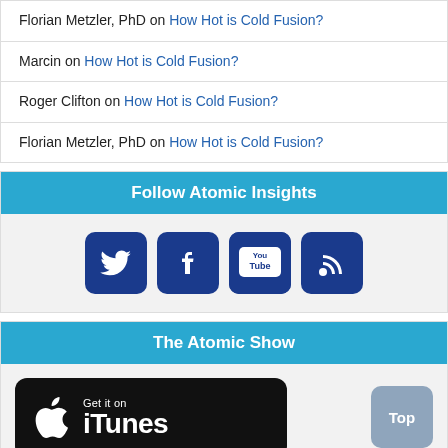Florian Metzler, PhD on How Hot is Cold Fusion?
Marcin on How Hot is Cold Fusion?
Roger Clifton on How Hot is Cold Fusion?
Florian Metzler, PhD on How Hot is Cold Fusion?
Follow Atomic Insights
[Figure (infographic): Four social media icons: Twitter, Facebook, YouTube, RSS feed — all dark blue with rounded corners]
The Atomic Show
[Figure (infographic): Get it on iTunes badge — black rounded rectangle with Apple logo and text 'Get it on iTunes']
Top